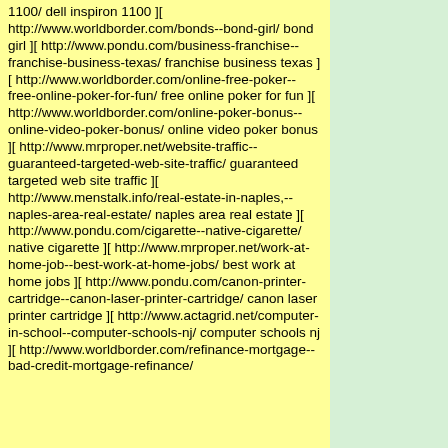1100/ dell inspiron 1100 ][ http://www.worldborder.com/bonds--bond-girl/ bond girl ][ http://www.pondu.com/business-franchise--franchise-business-texas/ franchise business texas ][ http://www.worldborder.com/online-free-poker--free-online-poker-for-fun/ free online poker for fun ][ http://www.worldborder.com/online-poker-bonus--online-video-poker-bonus/ online video poker bonus ][ http://www.mrproper.net/website-traffic--guaranteed-targeted-web-site-traffic/ guaranteed targeted web site traffic ][ http://www.menstalk.info/real-estate-in-naples,--naples-area-real-estate/ naples area real estate ][ http://www.pondu.com/cigarette--native-cigarette/ native cigarette ][ http://www.mrproper.net/work-at-home-job--best-work-at-home-jobs/ best work at home jobs ][ http://www.pondu.com/canon-printer-cartridge--canon-laser-printer-cartridge/ canon laser printer cartridge ][ http://www.actagrid.net/computer-in-school--computer-schools-nj/ computer schools nj ][ http://www.worldborder.com/refinance-mortgage--bad-credit-mortgage-refinance/